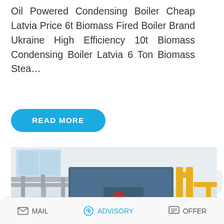Oil Powered Condensing Boiler Cheap Latvia Price 6t Biomass Fired Boiler Brand Ukraine High Efficiency 10t Biomass Condensing Boiler Latvia 6 Ton Biomass Stea…
READ MORE
[Figure (photo): Industrial boiler room showing a large blue cylindrical steam boiler with red burner assembly, gray pipe systems, yellow metal support frames and piping, photographed from a low angle inside a factory facility.]
[Figure (screenshot): WhatsApp sticker save overlay with purple-to-blue gradient background showing 'Save Stickers on WhatsApp' text and two chat/phone icon circles]
MAIL   ADVISORY   OFFER